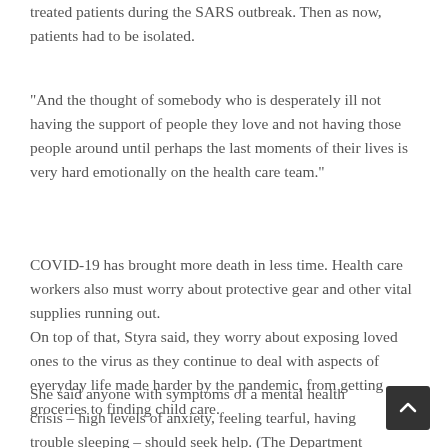treated patients during the SARS outbreak. Then as now, patients had to be isolated.
"And the thought of somebody who is desperately ill not having the support of people they love and not having those people around until perhaps the last moments of their lives is very hard emotionally on the health care team."
COVID-19 has brought more death in less time. Health care workers also must worry about protective gear and other vital supplies running out.
On top of that, Styra said, they worry about exposing loved ones to the virus as they continue to deal with aspects of everyday life made harder by the pandemic, from getting groceries to finding child care.
She said anyone with symptoms of a mental health crisis – high levels of anxiety, feeling tearful, having trouble sleeping – should seek help. (The Department of Veterans Affairs offers PTSD-related advice at